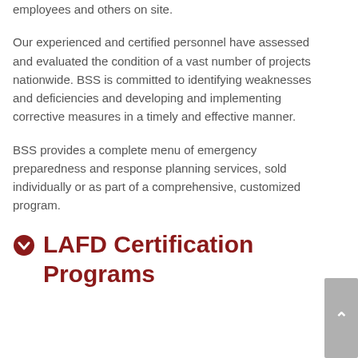employees and others on site.
Our experienced and certified personnel have assessed and evaluated the condition of a vast number of projects nationwide. BSS is committed to identifying weaknesses and deficiencies and developing and implementing corrective measures in a timely and effective manner.
BSS provides a complete menu of emergency preparedness and response planning services, sold individually or as part of a comprehensive, customized program.
LAFD Certification Programs